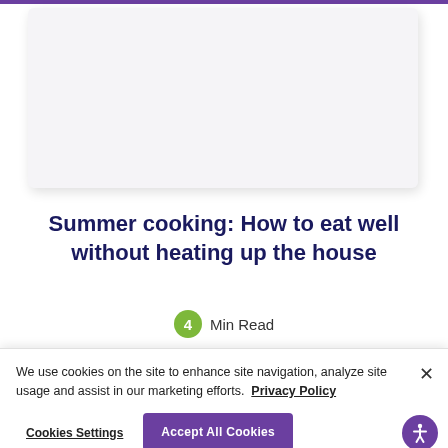[Figure (photo): Blank light gray image card placeholder at the top of the article page]
Summer cooking: How to eat well without heating up the house
4 Min Read
We use cookies on the site to enhance site navigation, analyze site usage and assist in our marketing efforts.  Privacy Policy
Cookies Settings
Accept All Cookies